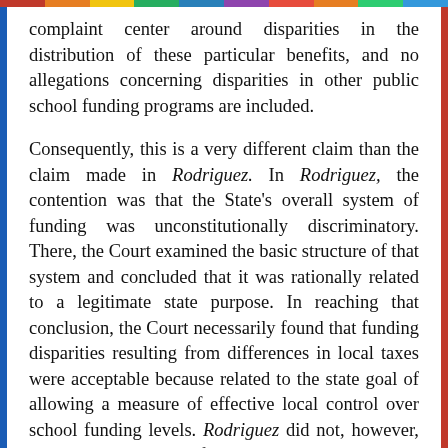complaint center around disparities in the distribution of these particular benefits, and no allegations concerning disparities in other public school funding programs are included.
Consequently, this is a very different claim than the claim made in Rodriguez. In Rodriguez, the contention was that the State's overall system of funding was unconstitutionally discriminatory. There, the Court examined the basic structure of that system and concluded that it was rationally related to a legitimate state purpose. In reaching that conclusion, the Court necessarily found that funding disparities resulting from differences in local taxes were acceptable because related to the state goal of allowing a measure of effective local control over school funding levels. Rodriguez did not, however, purport to validate all funding variations that might result from a State's public school funding decisions. It held merely that the variations that resulted from allowing local